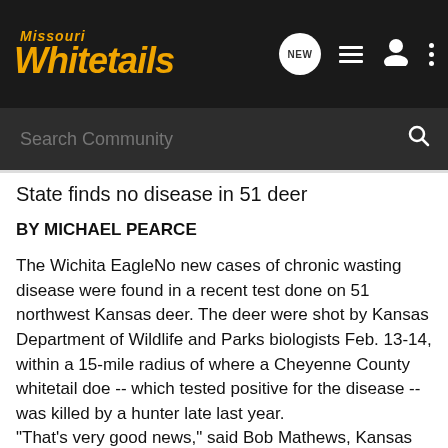Missouri Whitetails
State finds no disease in 51 deer
BY MICHAEL PEARCE
The Wichita EagleNo new cases of chronic wasting disease were found in a recent test done on 51 northwest Kansas deer. The deer were shot by Kansas Department of Wildlife and Parks biologists Feb. 13-14, within a 15-mile radius of where a Cheyenne County whitetail doe -- which tested positive for the disease -- was killed by a hunter late last year. "That's very good news," said Bob Mathews, Kansas Department of Wildlife and Parks information and education chief. If widespread in Kansas, some fear chronic wasting disease could deplete localized deer populations, cripple Kansas' deer